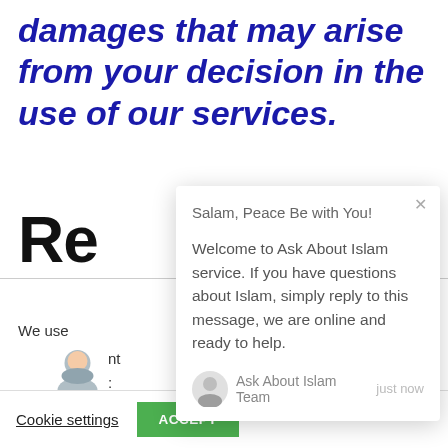damages that may arise from your decision in the use of our services.
Re
We use
nt
ALL the cookies.
Do not sell my personal information.
[Figure (screenshot): Chat popup overlay showing: 'Salam, Peace Be with You!' greeting, welcome message from Ask About Islam Team, close button, and agent avatar with timestamp 'just now']
Cookie settings
ACCEPT
[Figure (other): Orange circular chat button with white speech bubble icon and red notification badge showing '1']